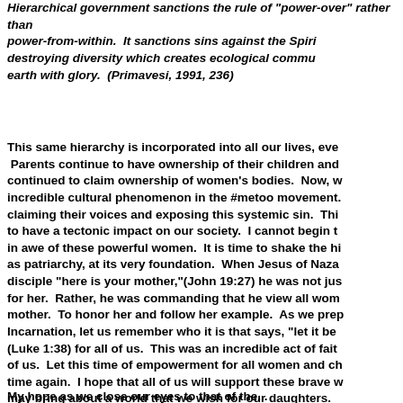Hierarchical government sanctions the rule of 'power-over' rather than power-from-within. It sanctions sins against the Spirit by destroying diversity which creates ecological community, and fills the earth with glory. (Primavesi, 1991, 236)
This same hierarchy is incorporated into all our lives, even today. Parents continue to have ownership of their children and men have continued to claim ownership of women's bodies. Now, we see the incredible cultural phenomenon in the #metoo movement. Women are claiming their voices and exposing this systemic sin. This is beginning to have a tectonic impact on our society. I cannot begin to express how in awe of these powerful women. It is time to shake the hierarchy, known as patriarchy, at its very foundation. When Jesus of Nazareth told his disciple "here is your mother,"(John 19:27) he was not just asking him to care for her. Rather, he was commanding that he view all women as his mother. To honor her and follow her example. As we prepare to celebrate Incarnation, let us remember who it is that says, "let it be done unto me" (Luke 1:38) for all of us. This was an incredible act of faith that is asked of us. Let this time of empowerment for all women and children happen time again. I hope that all of us will support these brave women so that we may bring about a world that we wish for our daughters.
My hope as we close our eyes to that of the...